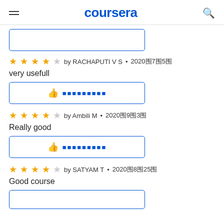coursera
very usefull — by RACHAPUTI V S · 2020年7月5日 — 4 stars
very usefull
Really good — by Ambili M · 2020年9月3日 — 4 stars
Really good
Good course — by SATYAM T · 2020年8月25日 — 4 stars
Good course